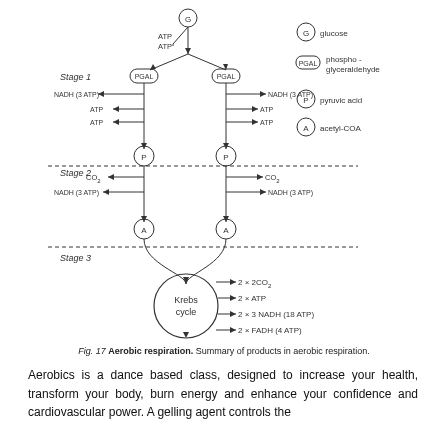[Figure (flowchart): Aerobic respiration flowchart showing 3 stages: Stage 1 (glycolysis) with glucose (G) splitting into two PGAL molecules, each producing NADH (3 ATP), ATP, ATP, then pyruvic acid (P). Stage 2 with CO2 and NADH (3 ATP) produced, converting P to acetyl-CoA (A). Stage 3 (Krebs cycle) with outputs: 2x2CO2, 2x ATP, 2x3 NADH (18 ATP), 2x FADH (4 ATP). Legend shows G=glucose, PGAL=phospho-glyceraldehyde, P=pyruvic acid, A=acetyl-CoA.]
Fig. 17 Aerobic respiration. Summary of products in aerobic respiration.
Aerobics is a dance based class, designed to increase your health, transform your body, burn energy and enhance your confidence and cardiovascular power. A gelling agent controls the